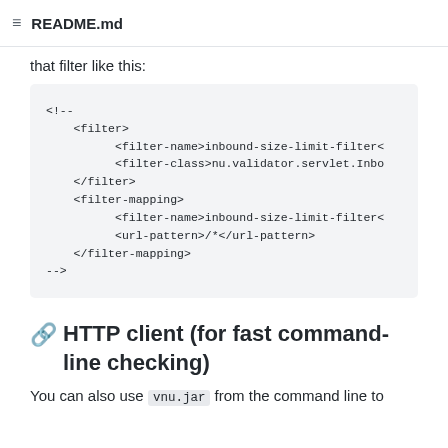README.md
that filter like this:
[Figure (screenshot): Code block showing XML filter configuration: <!-- <filter> <filter-name>inbound-size-limit-filter< <filter-class>nu.validator.servlet.Inbo </filter> <filter-mapping> <filter-name>inbound-size-limit-filter< <url-pattern>/*</url-pattern> </filter-mapping> -->]
HTTP client (for fast command-line checking)
You can also use vnu.jar from the command line to